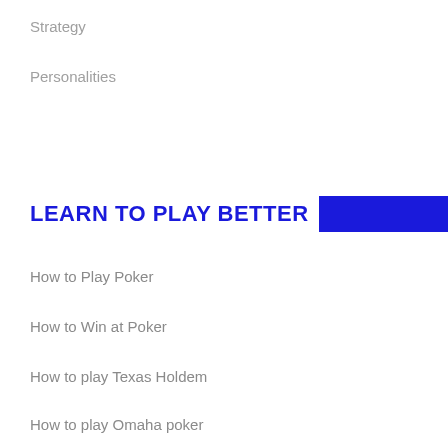Strategy
Personalities
LEARN TO PLAY BETTER
How to Play Poker
How to Win at Poker
How to play Texas Holdem
How to play Omaha poker